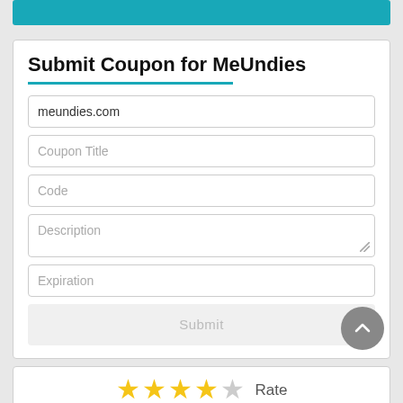[Figure (screenshot): Teal colored banner/button bar at top]
Submit Coupon for MeUndies
meundies.com
Coupon Title
Code
Description
Expiration
Submit
3.8 / 442 Votes
Rate